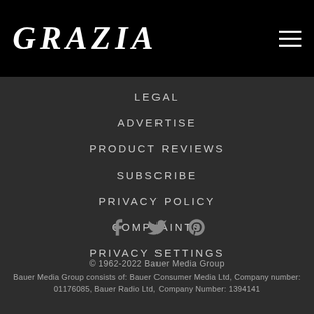GRAZIA
LEGAL
ADVERTISE
PRODUCT REVIEWS
SUBSCRIBE
PRIVACY POLICY
COMPLAINTS
PRIVACY SETTINGS
[Figure (infographic): Social media icons: Facebook, Twitter, Pinterest]
© 1962-2022 Bauer Media Group
Bauer Media Group consists of: Bauer Consumer Media Ltd, Company number: 01176085, Bauer Radio Ltd, Company Number: 1394141